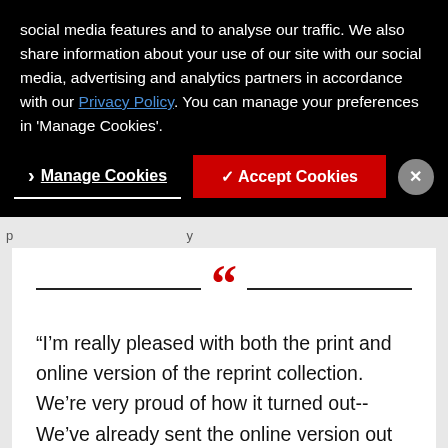social media features and to analyse our traffic. We also share information about your use of our site with our social media, advertising and analytics partners in accordance with our Privacy Policy. You can manage your preferences in 'Manage Cookies'.
Manage Cookies    ✓ Accept Cookies    ✕
(partially visible strip text)
“I’m really pleased with both the print and online version of the reprint collection. We’re very proud of how it turned out-- We’ve already sent the online version out to internal Duke BME audiences, and I know there are plans to send